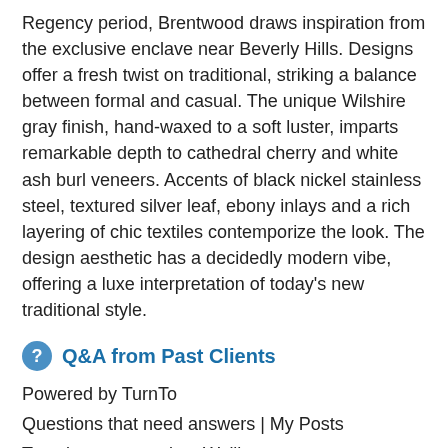Regency period, Brentwood draws inspiration from the exclusive enclave near Beverly Hills. Designs offer a fresh twist on traditional, striking a balance between formal and casual. The unique Wilshire gray finish, hand-waxed to a soft luster, imparts remarkable depth to cathedral cherry and white ash burl veneers. Accents of black nickel stainless steel, textured silver leaf, ebony inlays and a rich layering of chic textiles contemporize the look. The design aesthetic has a decidedly modern vibe, offering a luxe interpretation of today's new traditional style.
Q&A from Past Clients
Powered by TurnTo
Questions that need answers | My Posts
Type in your question. We'll look for answers.
Show all answers | Sort by